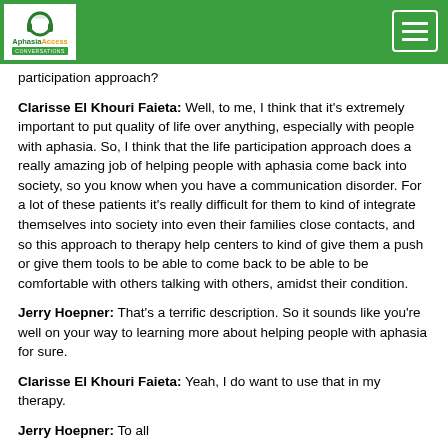Aphasia Access Conversations [logo + navigation]
participation approach?
Clarisse El Khouri Faieta: Well, to me, I think that it's extremely important to put quality of life over anything, especially with people with aphasia. So, I think that the life participation approach does a really amazing job of helping people with aphasia come back into society, so you know when you have a communication disorder. For a lot of these patients it's really difficult for them to kind of integrate themselves into society into even their families close contacts, and so this approach to therapy help centers to kind of give them a push or give them tools to be able to come back to be able to be comfortable with others talking with others, amidst their condition.
Jerry Hoepner: That's a terrific description. So it sounds like you're well on your way to learning more about helping people with aphasia for sure.
Clarisse El Khouri Faieta: Yeah, I do want to use that in my therapy.
Jerry Hoepner: [partially visible] ...